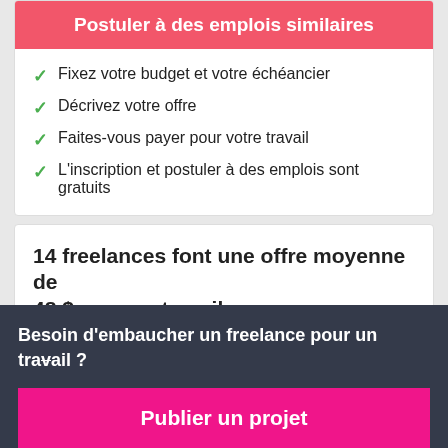Postuler à des emplois similaires
Fixez votre budget et votre échéancier
Décrivez votre offre
Faites-vous payer pour votre travail
L'inscription et postuler à des emplois sont gratuits
14 freelances font une offre moyenne de 48 $ pour ce travail
Besoin d'embaucher un freelance pour un travail ?
Publier un projet